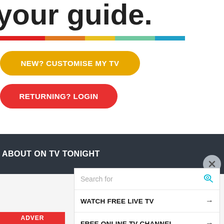your guide.
[Figure (infographic): Horizontal multi-color bar: red, orange, yellow, teal, blue segments]
NEW? CUSTOMISE MY TV
RETURNING? LOGIN
ABOUT ON TV TONIGHT
On TV Tonight covers ... Australia. On TV Tonight covers ... near you.
Search for
WATCH FREE LIVE TV
FREE ONLINE TV CHANNEL
ADVER